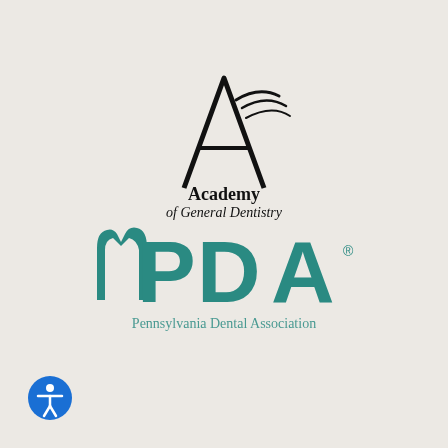[Figure (logo): Academy of General Dentistry logo: stylized letter A with curved lines, black text reading 'Academy of General Dentistry' beneath]
[Figure (logo): Pennsylvania Dental Association logo: large teal PDA letters with tooth-shaped element, text 'Pennsylvania Dental Association' below]
[Figure (other): Blue circular accessibility icon with white person/wheelchair symbol]